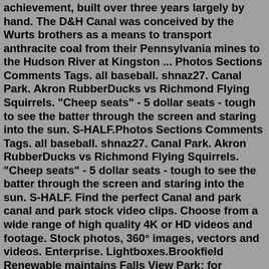achievement, built over three years largely by hand. The D&H Canal was conceived by the Wurts brothers as a means to transport anthracite coal from their Pennsylvania mines to the Hudson River at Kingston ... Photos Sections Comments Tags. all baseball. shnaz27. Canal Park. Akron RubberDucks vs Richmond Flying Squirrels. "Cheep seats" - 5 dollar seats - tough to see the batter through the screen and staring into the sun. S-HALF.Photos Sections Comments Tags. all baseball. shnaz27. Canal Park. Akron RubberDucks vs Richmond Flying Squirrels. "Cheep seats" - 5 dollar seats - tough to see the batter through the screen and staring into the sun. S-HALF. Find the perfect Canal and park canal and park stock video clips. Choose from a wide range of high quality 4K or HD videos and footage. Stock photos, 360° images, vectors and videos. Enterprise. Lightboxes.Brookfield Renewable maintains Falls View Park; for additional information or questions, please contact Mark Luciano at (518) 902-3344 or by email Don't Forget... Cohoes Overlook Park. For those